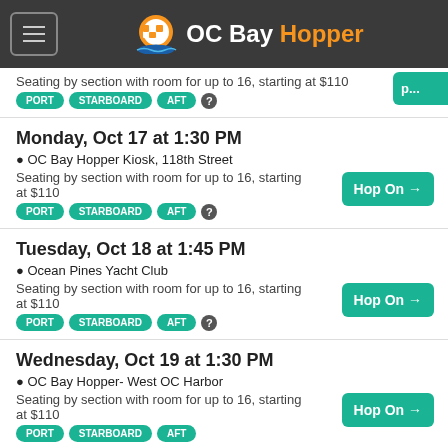OC Bay Hopper
Seating by section with room for up to 16, starting at $110 per section PORT STARBOARD AFT ?
Monday, Oct 17 at 1:30 PM
OC Bay Hopper Kiosk, 118th Street
Seating by section with room for up to 16, starting at $110 per section PORT STARBOARD AFT ?
Tuesday, Oct 18 at 1:45 PM
Ocean Pines Yacht Club
Seating by section with room for up to 16, starting at $110 per section PORT STARBOARD AFT ?
Wednesday, Oct 19 at 1:30 PM
OC Bay Hopper- West OC Harbor
Seating by section with room for up to 16, starting at $110